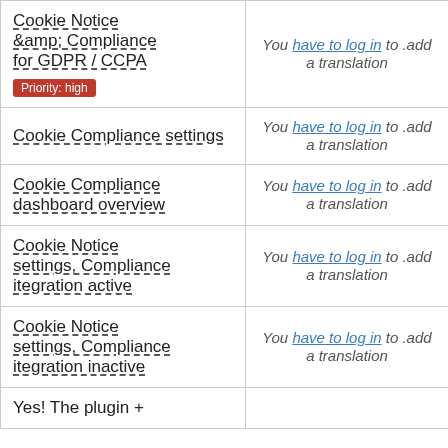| Plugin / Name | Translation | Action |
| --- | --- | --- |
| Cookie Notice &amp; Compliance for GDPR / CCPA [Priority: high] | You have to log in to .add a translation | Details |
| Cookie Compliance settings | You have to log in to .add a translation | Details |
| Cookie Compliance dashboard overview | You have to log in to .add a translation | Details |
| Cookie Notice settings, Compliance itegration active | You have to log in to .add a translation | Details |
| Cookie Notice settings, Compliance itegration inactive | You have to log in to .add a translation | Details |
| Yes! The plugin + |  | Details |